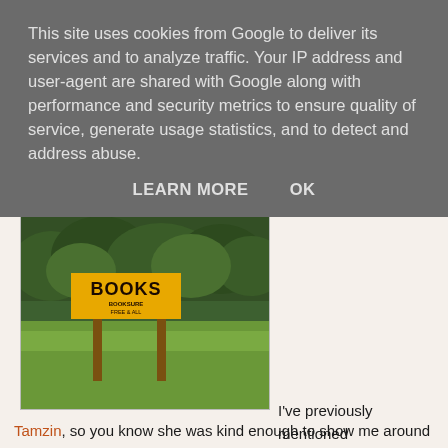This site uses cookies from Google to deliver its services and to analyze traffic. Your IP address and user-agent are shared with Google along with performance and security metrics to ensure quality of service, generate usage statistics, and to detect and address abuse.
LEARN MORE    OK
[Figure (photo): A yellow sign reading 'BOOKS' on wooden posts in front of a green hedge and grass area]
I've previously mentioned Tamzin, so you know she was kind enough to show me around Bath, what I didn't mention before is how pleased I was to be able to meet up with a random Twitter friend and realise I'd made a real-life friend too. Which I can assure you is not guaranteed when you've only 140 characters and can be a bit shy about meeting new people.